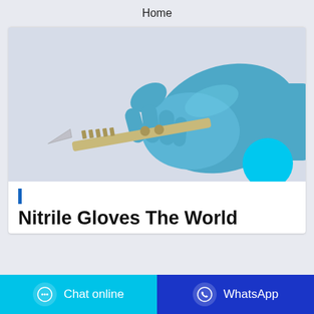Home
[Figure (photo): A blue nitrile-gloved hand holding a surgical scalpel against a light gray background. A bright cyan circle overlaps the lower-right corner of the image.]
Nitrile Gloves The World
Chat online
WhatsApp